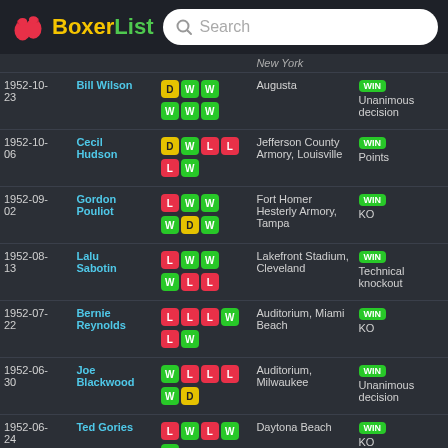BoxerList — Search bar
| Date | Opponent | Record | Venue | Result |
| --- | --- | --- | --- | --- |
|  |  |  | New York |  |
| 1952-10-23 | Bill Wilson | D W W / W W W | Augusta | WIN / Unanimous decision |
| 1952-10-06 | Cecil Hudson | D W L L / L W | Jefferson County Armory, Louisville | WIN / Points |
| 1952-09-02 | Gordon Pouliot | L W W / W D W | Fort Homer Hesterly Armory, Tampa | WIN / KO |
| 1952-08-13 | Lalu Sabotin | L W W / W L L | Lakefront Stadium, Cleveland | WIN / Technical knockout |
| 1952-07-22 | Bernie Reynolds | L L L W / L W | Auditorium, Miami Beach | WIN / KO |
| 1952-06-30 | Joe Blackwood | W L L L / W D | Auditorium, Milwaukee | WIN / Unanimous decision |
| 1952-06-24 | Ted Gories | L W L W / W | Daytona Beach | WIN / KO |